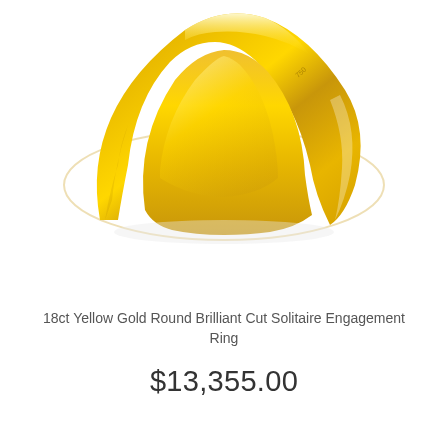[Figure (photo): Close-up photograph of an 18ct yellow gold ring with a smooth polished band, shown from a top-angled perspective against a white background. The ring has a hallmark visible on the inner band.]
18ct Yellow Gold Round Brilliant Cut Solitaire Engagement Ring
$13,355.00